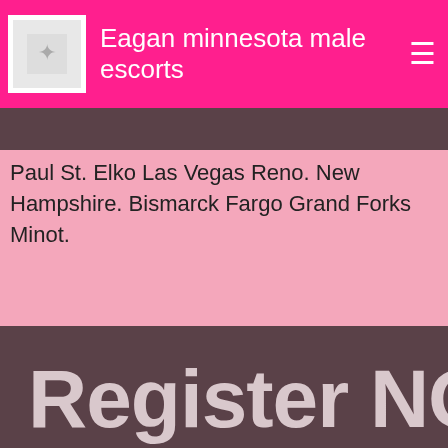Eagan minnesota male escorts
Paul St. Elko Las Vegas Reno. New Hampshire. Bismarck Fargo Grand Forks Minot.
[Figure (screenshot): Dark brown section with large text 'Register NO' partially visible at the bottom of the page]